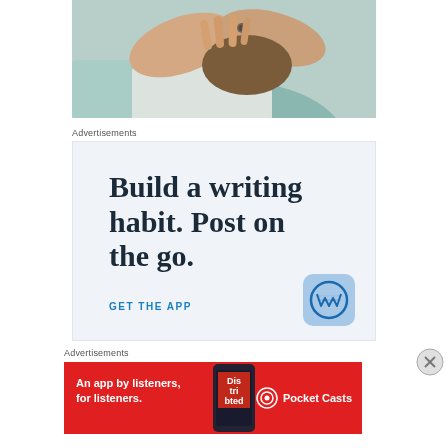[Figure (photo): A person with hands over their head/face, wearing a light blue patterned top, with a ring visible on one finger.]
Advertisements
[Figure (screenshot): WordPress app advertisement with text: Build a writing habit. Post on the go. GET THE APP, with WordPress logo in bottom right.]
[Figure (screenshot): Close (X) button overlay on the right side.]
Advertisements
[Figure (screenshot): Pocket Casts advertisement: An app by listeners, for listeners. Shows a phone with app graphic and Pocket Casts logo.]